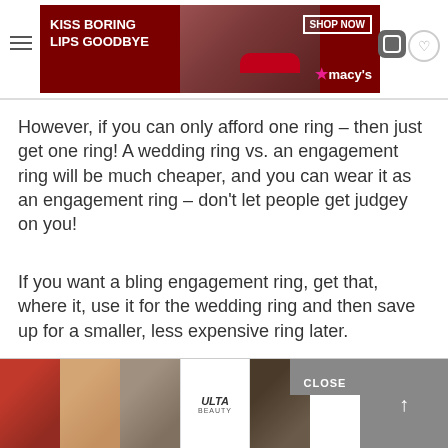KISS BORING LIPS GOODBYE — SHOP NOW — macys (ad banner)
However, if you can only afford one ring – then just get one ring! A wedding ring vs. an engagement ring will be much cheaper, and you can wear it as an engagement ring – don't let people get judgey on you!
If you want a bling engagement ring, get that, where it, use it for the wedding ring and then save up for a smaller, less expensive ring later.
Final Thoughts
Weddings can be stressful enough – don't let peo... you have...ent
[Figure (photo): Bottom ad banner: Ulta Beauty cosmetics advertisement with makeup images (red lips, brush, eye makeup, Ulta logo, eye makeup) and SHOP NOW button, with CLOSE button overlay]